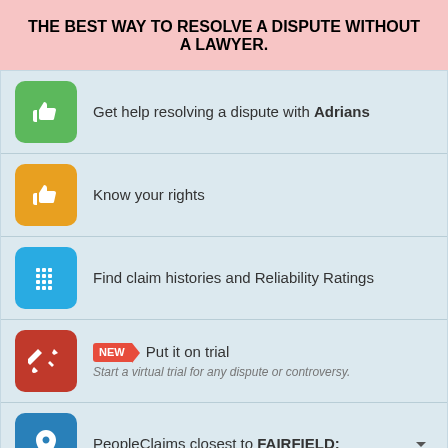THE BEST WAY TO RESOLVE A DISPUTE WITHOUT A LAWYER.
Get help resolving a dispute with Adrians
Know your rights
Find claim histories and Reliability Ratings
Put it on trial — Start a virtual trial for any dispute or controversy.
PeopleClaims closest to FAIRFIELD: